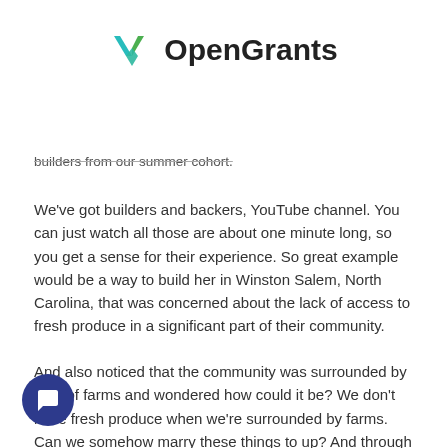[Figure (logo): OpenGrants logo with teal/green checkmark icon and bold black text 'OpenGrants']
builders from our summer cohort.
We've got builders and backers, YouTube channel. You can just watch all those are about one minute long, so you get a sense for their experience. So great example would be a way to build her in Winston Salem, North Carolina, that was concerned about the lack of access to fresh produce in a significant part of their community.
And also noticed that the community was surrounded by a lot of farms and wondered how could it be? We don't have fresh produce when we're surrounded by farms. Can we somehow marry these things to up? And through this program, took an idea created an idea called mobile market, which is think of a sort of ice cream truck, but